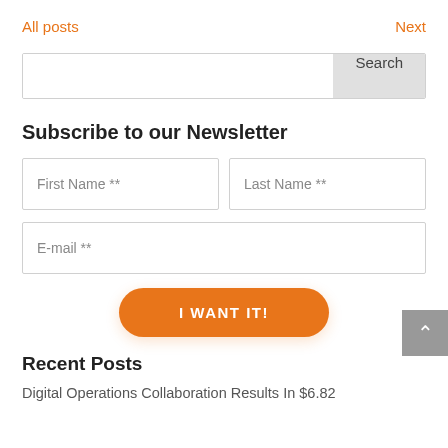All posts   Next
Search
Subscribe to our Newsletter
First Name **
Last Name **
E-mail **
I WANT IT!
Recent Posts
Digital Operations Collaboration Results In $6.82